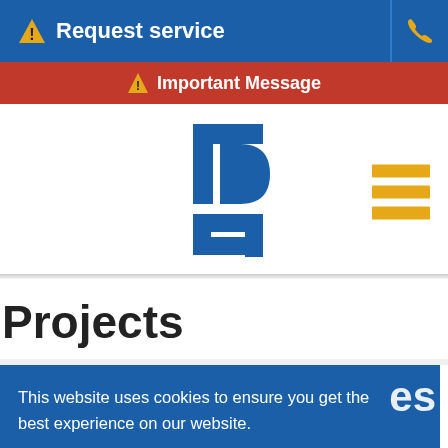⚠ Request service
⚠ Important Message
[Figure (logo): Blue stylized 'ID' or 'TC' logo mark for a government/utility organization]
Projects
This website uses cookies to ensure you get the best experience on our website. Learn more
I Approve This